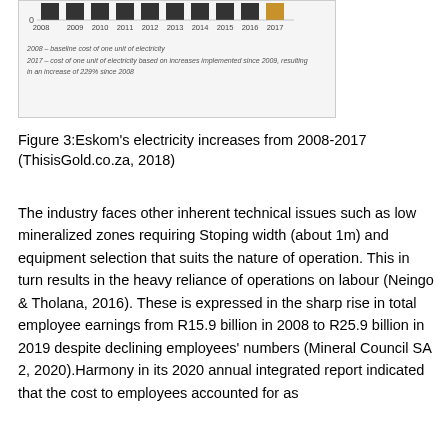[Figure (bar-chart): Bar chart showing Eskom electricity cost increases from 2008 to 2017. Years 2008-2016 shown in dark/black bars, 2017 shown in gold/amber. The y-axis starts at 0. Notes: 2008 - baseline cost of one unit of electricity; 2017 - cost of one unit of electricity based on increases implemented since 2009, resulting in an increase of 229% since 2008.]
Figure 3:Eskom's electricity increases from 2008-2017 (ThisisGold.co.za, 2018)
The industry faces other inherent technical issues such as low mineralized zones requiring Stoping width (about 1m) and equipment selection that suits the nature of operation. This in turn results in the heavy reliance of operations on labour (Neingo & Tholana, 2016). These is expressed in the sharp rise in total employee earnings from R15.9 billion in 2008 to R25.9 billion in 2019 despite declining employees' numbers (Mineral Council SA 2, 2020).Harmony in its 2020 annual integrated report indicated that the cost to employees accounted for as